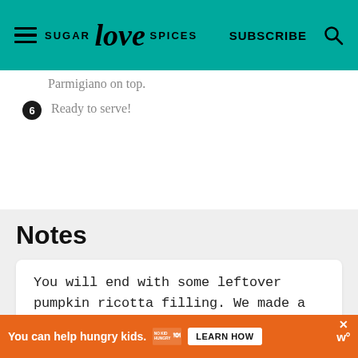SUGAR love SPICES | SUBSCRIBE
Parmigiano on top.
6  Ready to serve!
Notes
You will end with some leftover pumpkin ricotta filling. We made a tart with that.
You can help hungry kids. NO KID HUNGRY LEARN HOW